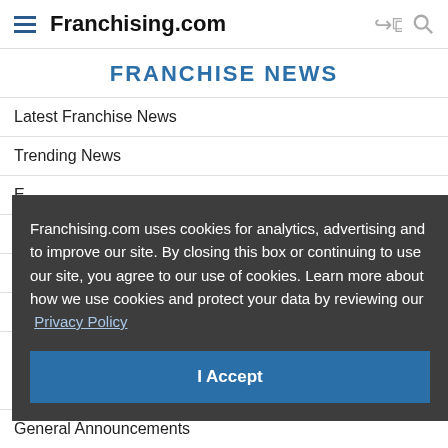Franchising.com
FRANCHISE NEWS
Latest Franchise News
Trending News
Franchising.com uses cookies for analytics, advertising and to improve our site. By closing this box or continuing to use our site, you agree to our use of cookies. Learn more about how we use cookies and protect your data by reviewing our Privacy Policy
I Accept
E
F
M
P
General Announcements